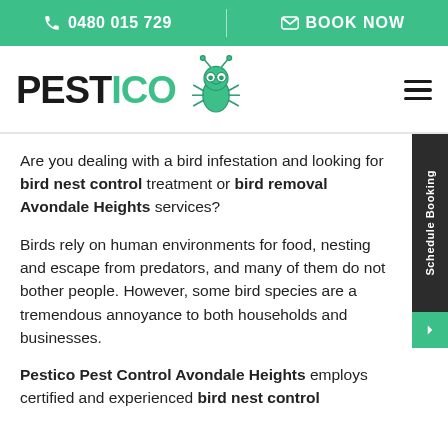📞 0480 015 729 | ✉ BOOK NOW
[Figure (logo): Pestico logo with green cartoon ant/bug mascot wearing glasses, bold text PESTICO]
Are you dealing with a bird infestation and looking for bird nest control treatment or bird removal Avondale Heights services?
Birds rely on human environments for food, nesting and escape from predators, and many of them do not bother people. However, some bird species are a tremendous annoyance to both households and businesses.
Pestico Pest Control Avondale Heights employs certified and experienced bird nest control